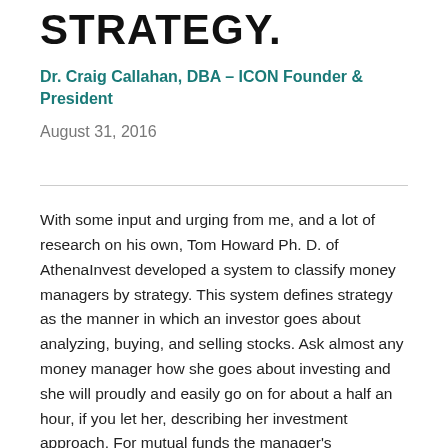STRATEGY.
Dr. Craig Callahan, DBA – ICON Founder & President
August 31, 2016
With some input and urging from me, and a lot of research on his own, Tom Howard Ph. D. of AthenaInvest developed a system to classify money managers by strategy. This system defines strategy as the manner in which an investor goes about analyzing, buying, and selling stocks. Ask almost any money manager how she goes about investing and she will proudly and easily go on for about a half an hour, if you let her, describing her investment approach. For mutual funds the manager's